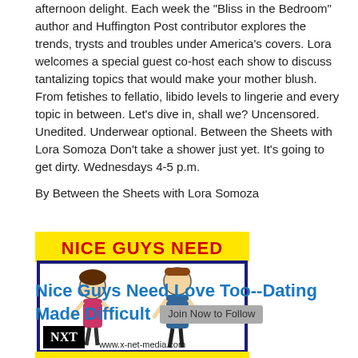afternoon delight. Each week the "Bliss in the Bedroom" author and Huffington Post contributor explores the trends, trysts and troubles under America's covers. Lora welcomes a special guest co-host each show to discuss tantalizing topics that would make your mother blush. From fetishes to fellatio, libido levels to lingerie and every topic in between. Let's dive in, shall we? Uncensored. Unedited. Underwear optional. Between the Sheets with Lora Somoza Don't take a shower just yet. It's going to get dirty. Wednesdays 4-5 p.m.
By Between the Sheets with Lora Somoza
[Figure (illustration): Advertisement image for 'Nice Guys Need Love TOOOOOO' podcast/show with cartoon figures of a man and woman, yellow border top and bottom with red bold text, NXT logo in lower left, website www.x-net-media.com at bottom of image]
Nice Guys Need Love Too--Dating Made Difficult
Hey, every guy knows that being the NICE GUY makes all the women loooove you...uh, right? Well...IT SHOULD, gosh darn it! Join us, Mr. Nice Guy (aka Steve 'The Dean' Williams from www.schoolofdating.com and The Advanced Dating Tips For Men podcast), his less than masculine alter ego Kris Withakay and Justin